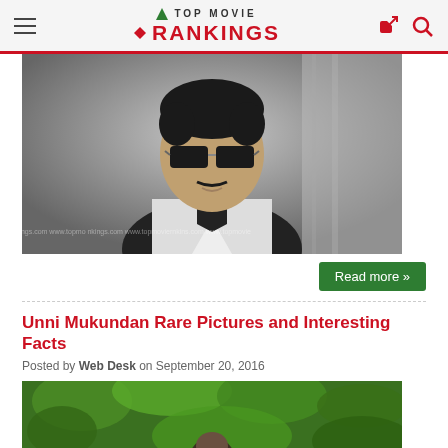TOP MOVIE RANKINGS
[Figure (photo): Black and white photo of a man wearing aviator sunglasses and a white jacket, with watermark text 'www.topmovierankings.com' repeated across the bottom]
Read more »
Unni Mukundan Rare Pictures and Interesting Facts
Posted by Web Desk on September 20, 2016
[Figure (photo): Partial photo showing a person among green foliage/trees]